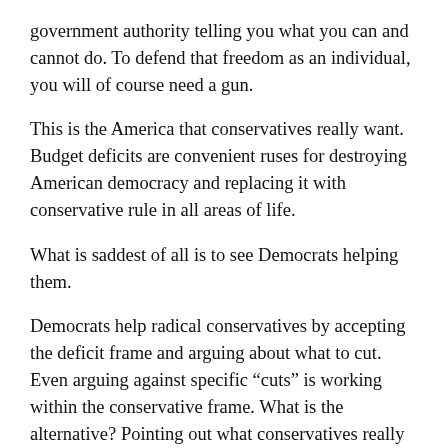government authority telling you what you can and cannot do. To defend that freedom as an individual, you will of course need a gun.
This is the America that conservatives really want. Budget deficits are convenient ruses for destroying American democracy and replacing it with conservative rule in all areas of life.
What is saddest of all is to see Democrats helping them.
Democrats help radical conservatives by accepting the deficit frame and arguing about what to cut. Even arguing against specific “cuts” is working within the conservative frame. What is the alternative? Pointing out what conservatives really want. Point out that there is plenty of money in America, and in Wisconsin. It is at the top. The disparity in financial assets is un-American — the top one percent has more financial assets than the bottom 95 percent. Middle class wages have been flat for 30 years.